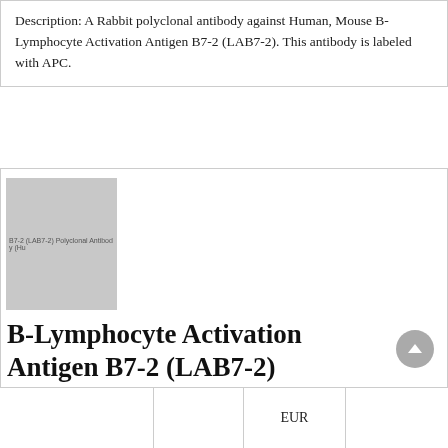Description: A Rabbit polyclonal antibody against Human, Mouse B-Lymphocyte Activation Antigen B7-2 (LAB7-2). This antibody is labeled with APC.
[Figure (photo): Placeholder grey product image with text 'B7-2 (LAB7-2) Polyclonal Antibody (Hu...']
B-Lymphocyte Activation Antigen B7-2 (LAB7-2) Polyclonal Antibody (Human, Mouse), Biotinylated
|  |  | EUR |  |
| --- | --- | --- | --- |
|  |